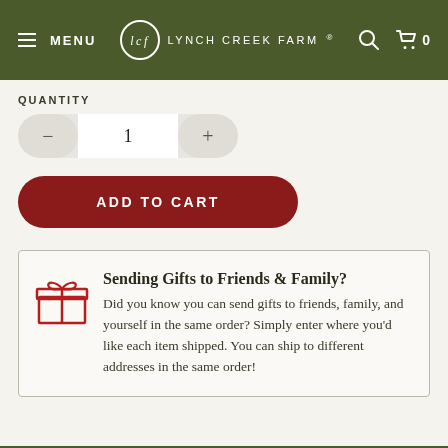MENU | Lynch Creek Farm | 0
QUANTITY
1
ADD TO CART
[Figure (illustration): Red gift box icon with ribbon and bow]
Sending Gifts to Friends & Family?
Did you know you can send gifts to friends, family, and yourself in the same order? Simply enter where you'd like each item shipped. You can ship to different addresses in the same order!